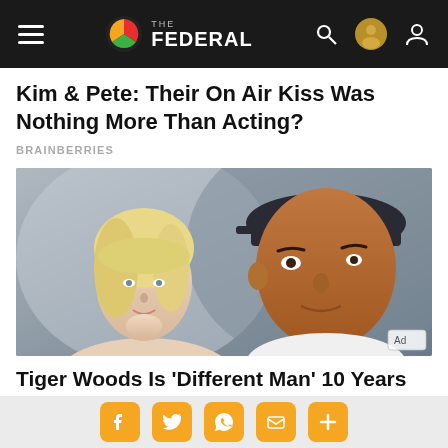THE FEDERAL
Kim & Pete: Their On Air Kiss Was Nothing More Than Acting?
BRAINBERRIES
[Figure (photo): A blonde woman and a man wearing a dark baseball cap, close-up portrait photo]
Tiger Woods Is 'Different Man' 10 Years After Scandal
Social share buttons: Facebook, Twitter, WhatsApp, Email, More